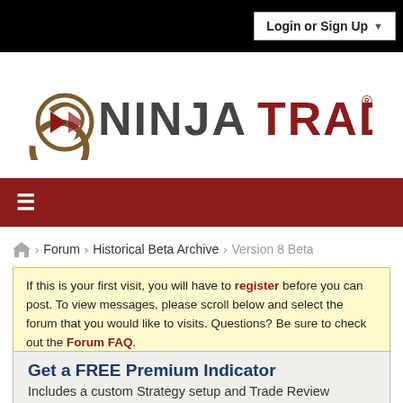Login or Sign Up
[Figure (logo): NinjaTrader logo with circular arrow icon and NINJATRADER® wordmark in dark red/gold]
≡ (navigation hamburger menu)
Forum > Historical Beta Archive > Version 8 Beta
If this is your first visit, you will have to register before you can post. To view messages, please scroll below and select the forum that you would like to visits. Questions? Be sure to check out the Forum FAQ.
Get a FREE Premium Indicator
Includes a custom Strategy setup and Trade Review